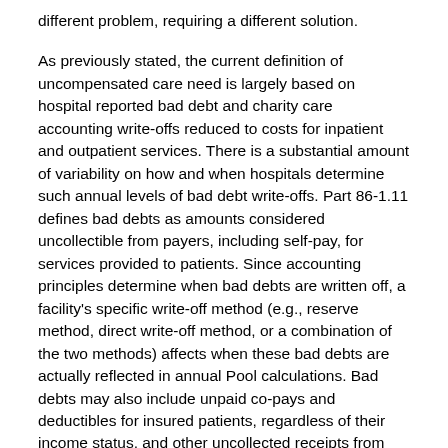different problem, requiring a different solution.
As previously stated, the current definition of uncompensated care need is largely based on hospital reported bad debt and charity care accounting write-offs reduced to costs for inpatient and outpatient services. There is a substantial amount of variability on how and when hospitals determine such annual levels of bad debt write-offs. Part 86-1.11 defines bad debts as amounts considered uncollectible from payers, including self-pay, for services provided to patients. Since accounting principles determine when bad debts are written off, a facility's specific write-off method (e.g., reserve method, direct write-off method, or a combination of the two methods) affects when these bad debts are actually reflected in annual Pool calculations. Bad debts may also include unpaid co-pays and deductibles for insured patients, regardless of their income status, and other uncollected receipts from third-party billings.